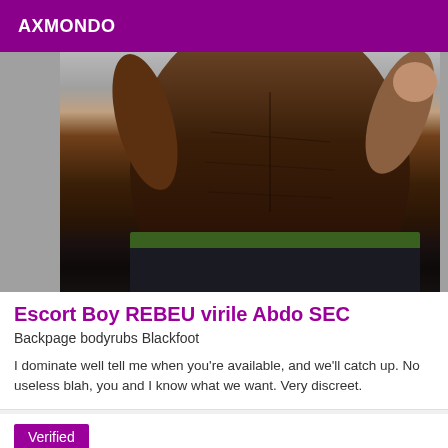AXMONDO
[Figure (photo): Torso of a person showing abdominal muscles, wearing dark shorts with a green waistband, arms raised]
Escort Boy REBEU virile Abdo SEC
Backpage bodyrubs Blackfoot
I dominate well tell me when you're available, and we'll catch up. No useless blah, you and I know what we want. Very discreet.
Verified